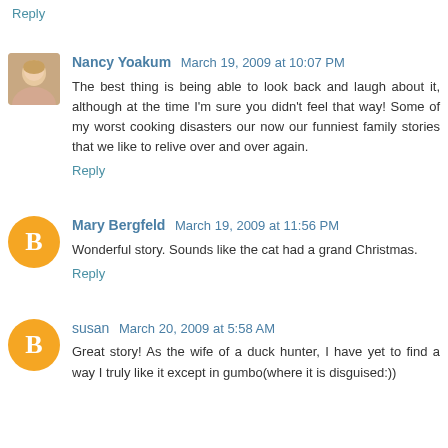Reply
Nancy Yoakum  March 19, 2009 at 10:07 PM
The best thing is being able to look back and laugh about it, although at the time I'm sure you didn't feel that way! Some of my worst cooking disasters our now our funniest family stories that we like to relive over and over again.
Reply
Mary Bergfeld  March 19, 2009 at 11:56 PM
Wonderful story. Sounds like the cat had a grand Christmas.
Reply
susan  March 20, 2009 at 5:58 AM
Great story! As the wife of a duck hunter, I have yet to find a way I truly like it except in gumbo(where it is disguised:))